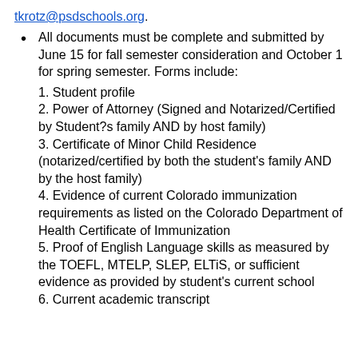tkrotz@psdschools.org.
All documents must be complete and submitted by June 15 for fall semester consideration and October 1 for spring semester. Forms include:
1. Student profile
2. Power of Attorney (Signed and Notarized/Certified by Student?s family AND by host family)
3. Certificate of Minor Child Residence (notarized/certified by both the student's family AND by the host family)
4. Evidence of current Colorado immunization requirements as listed on the Colorado Department of Health Certificate of Immunization
5. Proof of English Language skills as measured by the TOEFL, MTELP, SLEP, ELTiS, or sufficient evidence as provided by student's current school
6. Current academic transcript